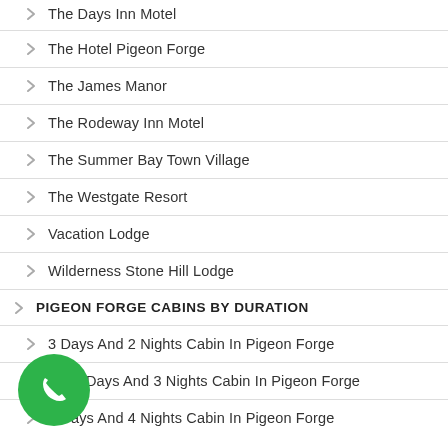The Days Inn Motel
The Hotel Pigeon Forge
The James Manor
The Rodeway Inn Motel
The Summer Bay Town Village
The Westgate Resort
Vacation Lodge
Wilderness Stone Hill Lodge
PIGEON FORGE CABINS BY DURATION
3 Days And 2 Nights Cabin In Pigeon Forge
4 Days And 3 Nights Cabin In Pigeon Forge
5 Days And 4 Nights Cabin In Pigeon Forge